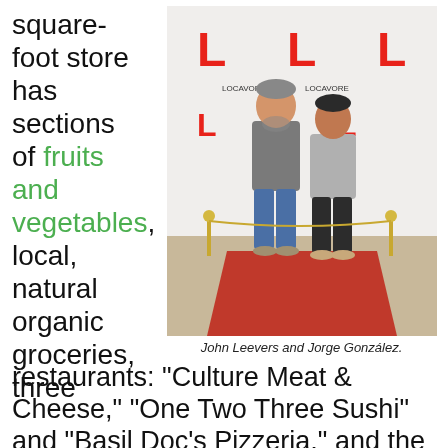square-foot store has sections of fruits and vegetables, local, natural organic groceries, three restaurants: “Culture Meat & Cheese,” “One Two Three Sushi” and “Basil Doc’s Pizzeria,” and the best known as “Di...
[Figure (photo): Two men standing on a red carpet in front of a white banner backdrop with the letter L logos. The man on the left is taller, wearing a gray work shirt and jeans. The man on the right is wearing a gray pullover and dark pants.]
John Leevers and Jorge González.